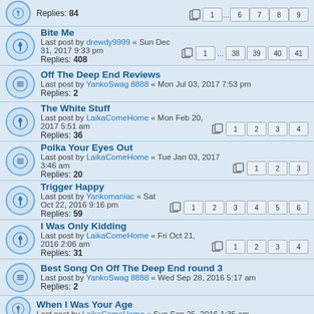Replies: 84 | pages: 1 ... 6 7 8 9
Bite Me
Last post by drewdy9999 « Sun Dec 31, 2017 9:33 pm
Replies: 408 | pages: 1 ... 38 39 40 41
Off The Deep End Reviews
Last post by YankoSwag 8888 « Mon Jul 03, 2017 7:53 pm
Replies: 2
The White Stuff
Last post by LaikaComeHome « Mon Feb 20, 2017 5:51 am
Replies: 36 | pages: 1 2 3 4
Polka Your Eyes Out
Last post by LaikaComeHome « Tue Jan 03, 2017 3:46 am
Replies: 20 | pages: 1 2 3
Trigger Happy
Last post by Yankomaniac « Sat Oct 22, 2016 9:16 pm
Replies: 59 | pages: 1 2 3 4 5 6
I Was Only Kidding
Last post by LaikaComeHome « Fri Oct 21, 2016 2:06 am
Replies: 31 | pages: 1 2 3 4
Best Song On Off The Deep End round 3
Last post by YankoSwag 8888 « Wed Sep 28, 2016 5:17 am
Replies: 2
When I Was Your Age
Last post by LaikaComeHome « Sun Sep 25, 2016 1:35 am